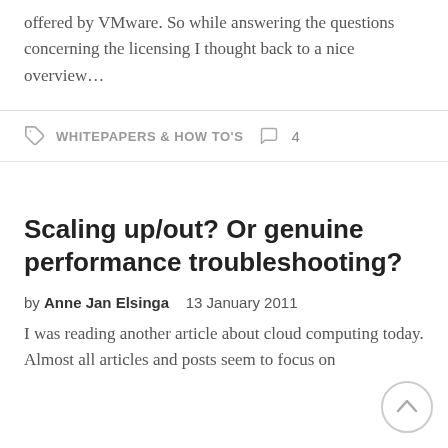offered by VMware. So while answering the questions concerning the licensing I thought back to a nice overview...
WHITEPAPERS & HOW TO'S  4
Scaling up/out? Or genuine performance troubleshooting?
by Anne Jan Elsinga   13 January 2011
I was reading another article about cloud computing today. Almost all articles and posts seem to focus on